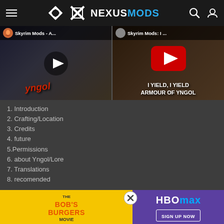NexusMods navigation header
[Figure (screenshot): Two YouTube video thumbnails side by side for 'Skyrim Mods - A...' and 'Skyrim Mods: I ...' with play buttons and 'I YIELD, I YIELD ARMOUR OF YNGOL' text]
1. Introduction
2. Crafting/Location
3. Credits
4. future
5.Permissions
6. about Yngol/Lore
7. Translations
8. recomended
1.Introduction
This mod gives you a complete new Armor set of the Ancient Nords. its fully temperable, uniqe and can be found with yngols helmet on yngols barrow.
The Coral
[Figure (screenshot): Advertisement banner - Bob's Burgers Movie on left (yellow background) and HBO Max Sign Up Now on right (purple background) with close button]